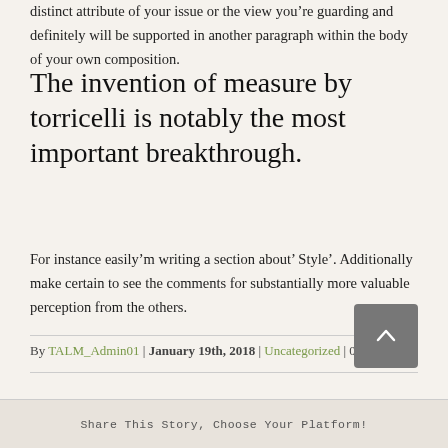distinct attribute of your issue or the view you’re guarding and definitely will be supported in another paragraph within the body of your own composition.
The invention of measure by torricelli is notably the most important breakthrough.
For instance easily’m writing a section about’ Style’. Additionally make certain to see the comments for substantially more valuable perception from the others.
By TALM_Admin01 | January 19th, 2018 | Uncategorized | 0 Comments
Share This Story, Choose Your Platform!